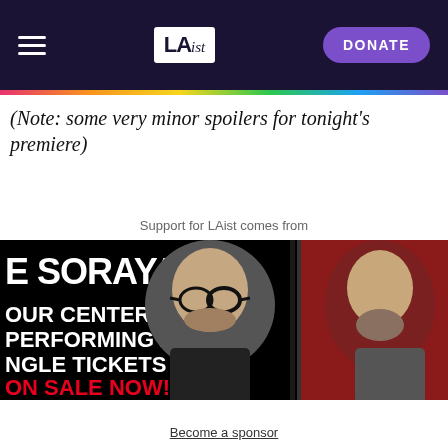LAist — DONATE
(Note: some very minor spoilers for tonight's premiere)
Support for LAist comes from
[Figure (photo): Advertisement banner for The Soraya performing arts center. Text reads: THE SORAYA IS YOUR CENTER FOR PERFORMING ARTS. SINGLE TICKETS ON SALE NOW! with photos of two men.]
Become a sponsor